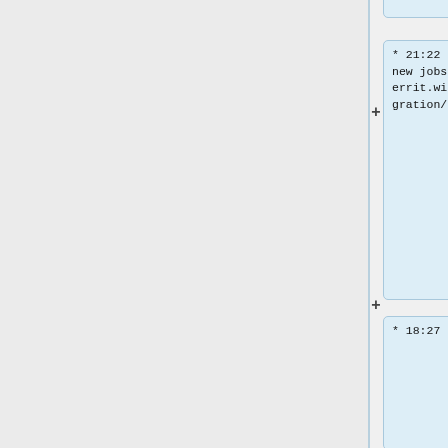Reloading Zuul to deploy https://gerrit.wikimedia.org/r/c/integration/config/+/789694
* 21:22 dduvall: creating 4 new jobs to deploy https://gerrit.wikimedia.org/r/c/integration/config/+/789693
* 18:27 dduvall: reenabled